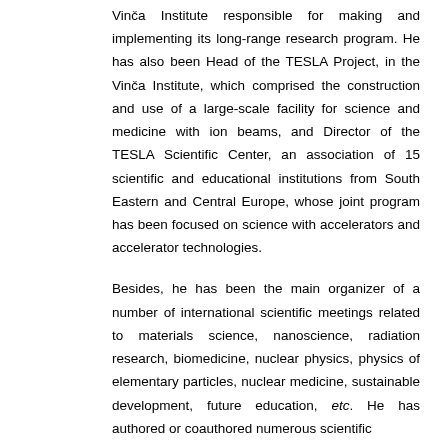Vinča Institute responsible for making and implementing its long-range research program. He has also been Head of the TESLA Project, in the Vinča Institute, which comprised the construction and use of a large-scale facility for science and medicine with ion beams, and Director of the TESLA Scientific Center, an association of 15 scientific and educational institutions from South Eastern and Central Europe, whose joint program has been focused on science with accelerators and accelerator technologies.
Besides, he has been the main organizer of a number of international scientific meetings related to materials science, nanoscience, radiation research, biomedicine, nuclear physics, physics of elementary particles, nuclear medicine, sustainable development, future education, etc. He has authored or coauthored numerous scientific